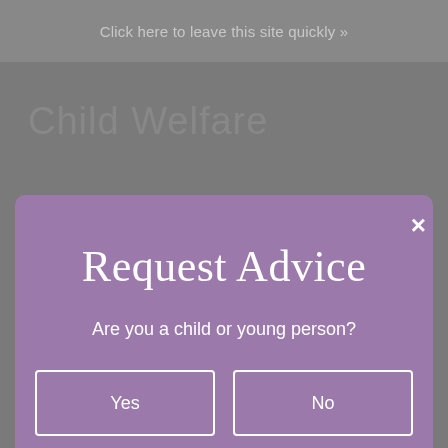Click here to leave this site quickly »
Child Welfare
[Figure (screenshot): Modal dialog with purple background showing 'Request Advice' title, question 'Are you a child or young person?' and two buttons: Yes and No, with an X close button in the top right corner]
ACCEPT COOKIES